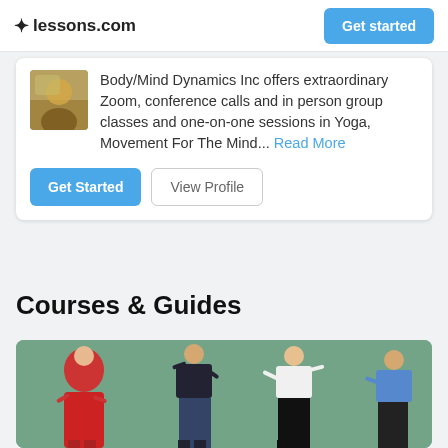lessons.com  Get started
Body/Mind Dynamics Inc offers extraordinary Zoom, conference calls and in person group classes and one-on-one sessions in Yoga, Movement For The Mind... Read More
Get Started  View Profile
Courses & Guides
[Figure (photo): People dancing, including a woman in red dress and others in casual clothes, outdoors with green background]